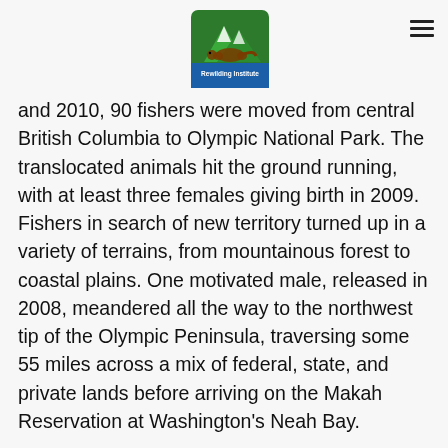[Rewilding Institute logo] [hamburger menu]
and 2010, 90 fishers were moved from central British Columbia to Olympic National Park. The translocated animals hit the ground running, with at least three females giving birth in 2009. Fishers in search of new territory turned up in a variety of terrains, from mountainous forest to coastal plains. One motivated male, released in 2008, meandered all the way to the northwest tip of the Olympic Peninsula, traversing some 55 miles across a mix of federal, state, and private lands before arriving on the Makah Reservation at Washington's Neah Bay.
The Makah Tribe agreed to help track the